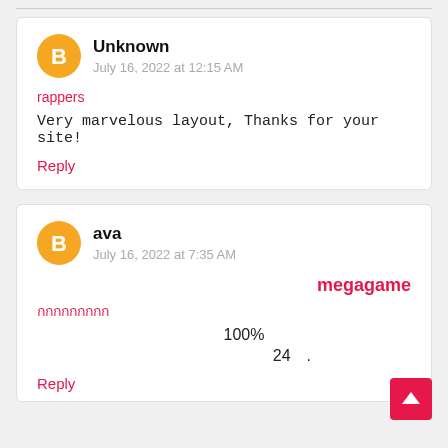Unknown
July 16, 2022 at 12:15 AM
rappers
Very marvelous layout, Thanks for your site!
Reply
ava
July 16, 2022 at 7:35 AM
megagame
กกกกกกกกก
100%
24 .
Reply